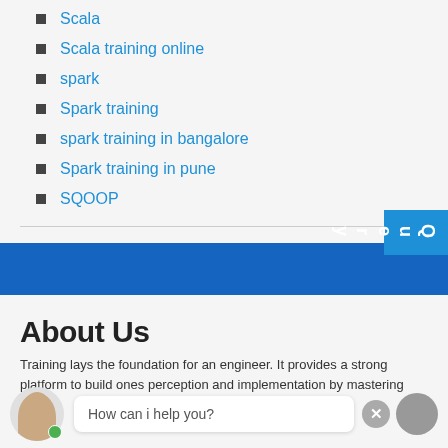Scala
Scala training online
spark
Spark training
spark training in bangalore
Spark training in pune
SQOOP
About Us
Training lays the foundation for an engineer. It provides a strong platform to build ones perception and implementation by mastering